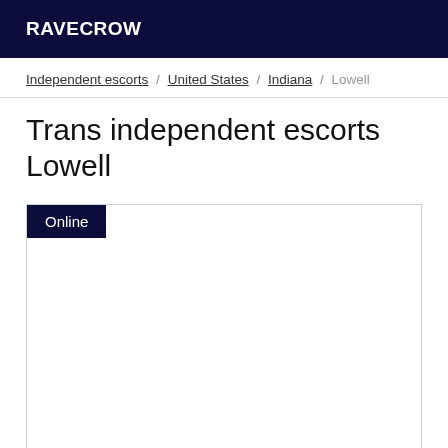RAVECROW
Independent escorts / United States / Indiana / Lowell
Trans independent escorts Lowell
Online